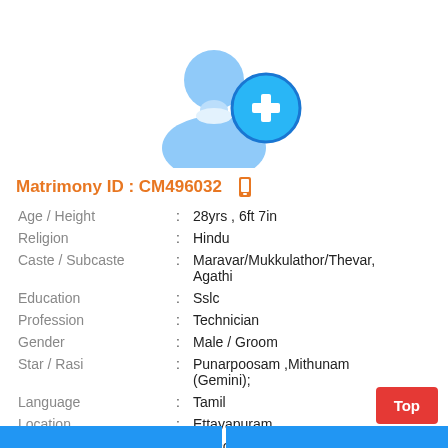[Figure (illustration): Blue silhouette of a person with a teal/blue circle with a plus sign, representing an add profile photo icon]
Matrimony ID : CM496032
| Age / Height | : | 28yrs , 6ft 7in |
| Religion | : | Hindu |
| Caste / Subcaste | : | Maravar/Mukkulathor/Thevar, Agathi |
| Education | : | Sslc |
| Profession | : | Technician |
| Gender | : | Male / Groom |
| Star / Rasi | : | Punarpoosam ,Mithunam (Gemini); |
| Language | : | Tamil |
| Location | : | Ettayapuram |
| District | : | Tuticorin |
| State | : | Tamil Nadu |
| Country | : | India |